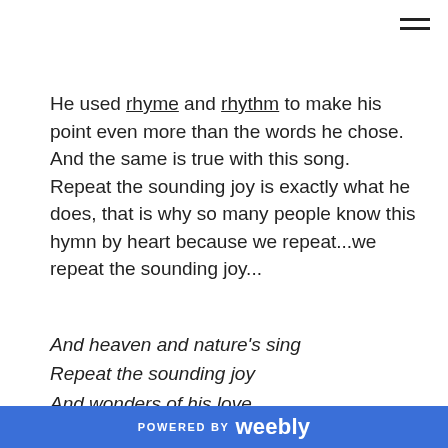He used rhyme and rhythm to make his point even more than the words he chose.  And the same is true with this song.  Repeat the sounding joy is exactly what he does, that is why so many people know this hymn by heart because we repeat...we repeat the sounding joy...
And heaven and nature's sing
Repeat the sounding joy
And wonders of his love.
We repeat those phrases again and again and again in...
POWERED BY weebly